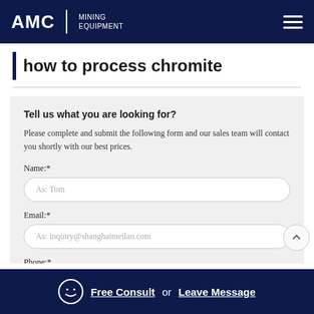AMC MINING EQUIPMENT
how to process chromite
Tell us what you are looking for?
Please complete and submit the following form and our sales team will contact you shortly with our best prices.
Name:*
As: Tom
Email:*
As: inquiry@shanghaimeilan.com
Phone:*
Free Consult or Leave Message